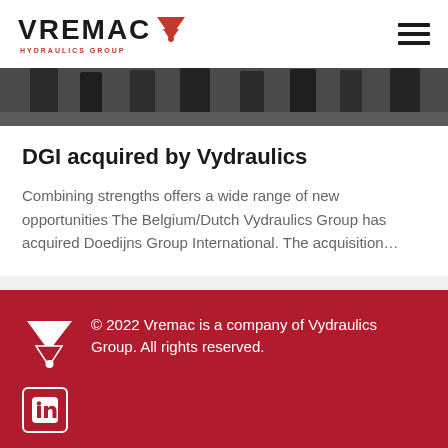VREMAC HYDRAULICS GROUP
[Figure (photo): Partial view of people standing in an industrial/warehouse setting, showing legs and lower bodies]
DGI acquired by Vydraulics
Combining strengths offers a wide range of new opportunities The Belgium/Dutch Vydraulics Group has acquired Doedijns Group International. The acquisition…
© 2022 Vremac is a company of Vydraulics Group. All rights reserved.